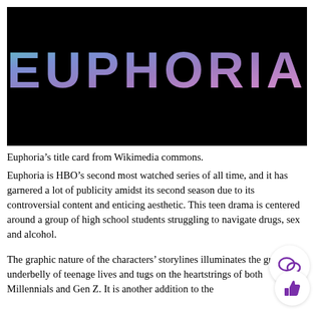[Figure (screenshot): Euphoria TV show title card on black background. The word EUPHORIA appears in large bold letters with a colorful gradient (teal, blue, purple, pink) across the letters, set against a pure black background.]
Euphoria’s title card from Wikimedia commons.
Euphoria is HBO’s second most watched series of all time, and it has garnered a lot of publicity amidst its second season due to its controversial content and enticing aesthetic. This teen drama is centered around a group of high school students struggling to navigate drugs, sex and alcohol.
The graphic nature of the characters’ storylines illuminates the grimy underbelly of teenage lives and tugs on the heartstrings of both Millennials and Gen Z. It is another addition to the